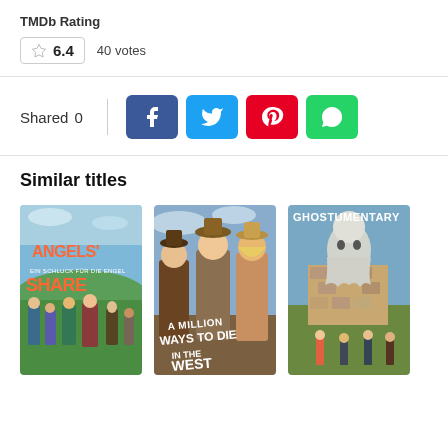TMDb Rating
6.4   40 votes
Shared 0
Similar titles
[Figure (photo): Movie poster for Angels' Share]
[Figure (photo): Movie poster for A Million Ways to Die in the West]
[Figure (photo): Movie poster for Ghostumentary]